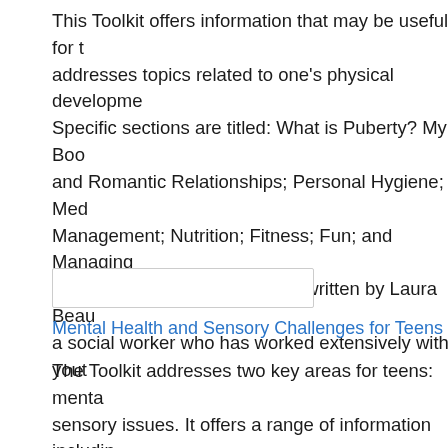This Toolkit offers information that may be useful for t addresses topics related to one's physical developme Specific sections are titled: What is Puberty? My Boo and Romantic Relationships; Personal Hygiene; Med Management; Nutrition; Fitness; Fun; and Managing Relationships. The Toolkit was written by Laura Beau a social worker who has worked extensively with yout
[Figure (other): Empty input/search box with rounded border]
Mental Health and Sensory Challenges for Teens
The Toolkit addresses two key areas for teens: menta sensory issues. It offers a range of information includin and strategies. The Toolkit was written by Laura Beau is a social worker who has worked extensively with y-